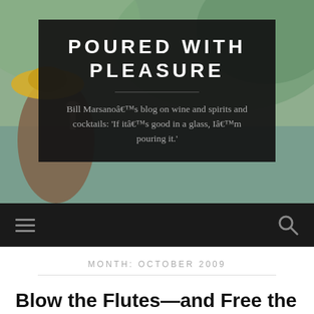[Figure (photo): Background photo showing a person in a yellow hat holding a wine glass, with a green outdoor scene]
POURED WITH PLEASURE
Bill Marsanoâ€™s blog on wine and spirits and cocktails: 'If itâ€™s good in a glass, Iâ€™m pouring it.'
navigation bar with hamburger menu and search icon
MONTH: OCTOBER 2009
Blow the Flutes—and Free the Bubbles